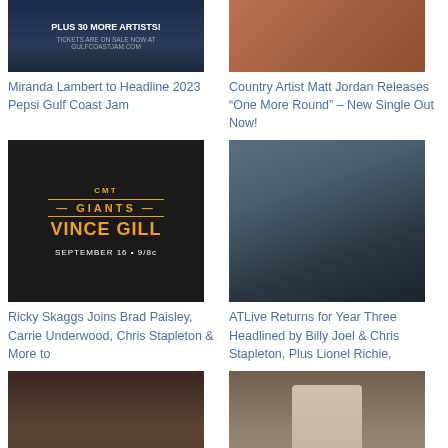[Figure (photo): Festival poster with text PLUS 30 MORE ARTISTS! and TICKETS ARE ON SALE NOW AT GULFCOASTJAM.COM]
[Figure (photo): Close-up photo of a person with reddish tones]
Miranda Lambert to Headline 2023 Pepsi Gulf Coast Jam
Country Artist Matt Jordan Releases “One More Round” – New Single Out Now!
[Figure (photo): CMT Giants Vince Gill promotional image, September 16 9/8c on dark background with gold text]
[Figure (photo): Side profile of a man with a long beard wearing a wide-brimmed hat]
Ricky Skaggs Joins Brad Paisley, Carrie Underwood, Chris Stapleton & More to
ATLive Returns for Year Three Headlined by Billy Joel & Chris Stapleton, Plus Lionel Richie,
[Figure (photo): Group photo of a band of musicians posing together]
[Figure (photo): Young person sitting outdoors against a stone wall]